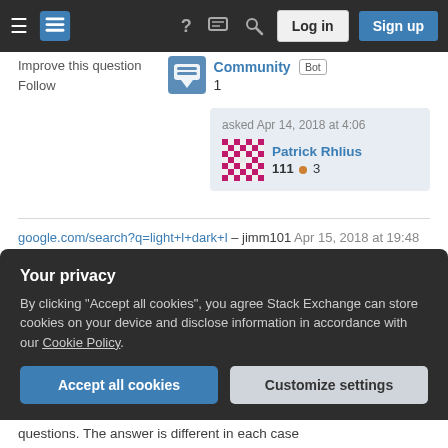Stack Exchange navigation bar with hamburger menu, logo, help, chat, search icons, Log in and Sign up buttons
Improve this question
Follow
Community Bot 1
asked Apr 14, 2018 at 4:06
Patrick Rhlius
111 ● 3
google.com/search?q=light+l+dark+l – jimm101 Apr 15, 2018 at 19:48
@Mari-LouA I've added examples in English and Portuguese where this happens (also happens in
Your privacy
By clicking "Accept all cookies", you agree Stack Exchange can store cookies on your device and disclose information in accordance with our Cookie Policy.
Accept all cookies   Customize settings
questions. The answer is different in each case